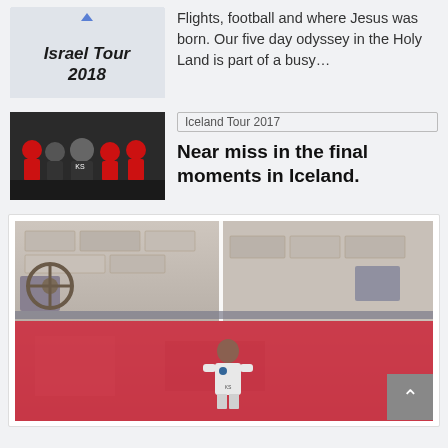Flights, football and where Jesus was born. Our five day odyssey in the Holy Land is part of a busy...
[Figure (photo): Israel Tour 2018 logo/title card in italic bold font on light grey background]
[Figure (photo): Group of people in red and dark football kit sitting together, Iceland Tour 2017]
Iceland Tour 2017
Near miss in the final moments in Iceland.
[Figure (photo): Large photo card showing a player in white kit standing in front of a pink-and-stone wall background with vertical white dividing lines]